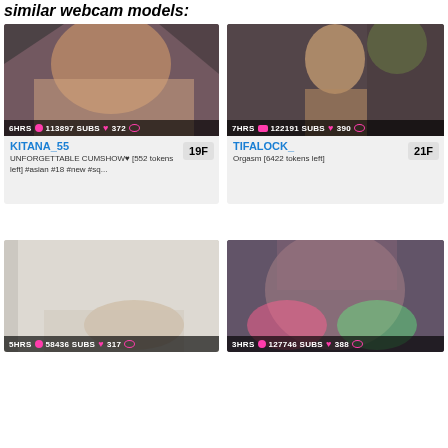similar webcam models:
[Figure (photo): Webcam model thumbnail - KITANA_55, dark background]
6HRS 113897 SUBS 372
KITANA_55
UNFORGETTABLE CUMSHOW♥ [552 tokens left] #asian #18 #new #sq... 19F
[Figure (photo): Webcam model thumbnail - TIFALOCK_, person with glasses]
7HRS 122191 SUBS 390
TIFALOCK_
Orgasm [6422 tokens left] 21F
[Figure (photo): Webcam model thumbnail - light colored room]
5HRS 58436 SUBS 317
[Figure (photo): Webcam model thumbnail - pink/green colored light scene]
3HRS 127746 SUBS 388